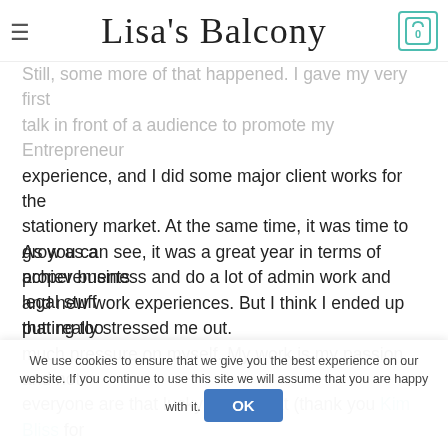Lisa's Balcony
Still, some more of that happened. I gave my very first talk in front of a audience to promote my Entrepreneur experience, and I did some major client works for the stationery market. At the same time, it was time to grow as a proper business and do a lot of admin work and legal stuff that really stressed me out.
As you can see, it was a great year in terms of achievements and new work experiences. But I think I ended up putting too much pressure on myself. My work is my passion and not everyone are that lucky to say that (thank you Kim Bliss for the reminder on Instagram). But after all the stress of the last couple of months I finally understood that life is not only
We use cookies to ensure that we give you the best experience on our website. If you continue to use this site we will assume that you are happy with it.